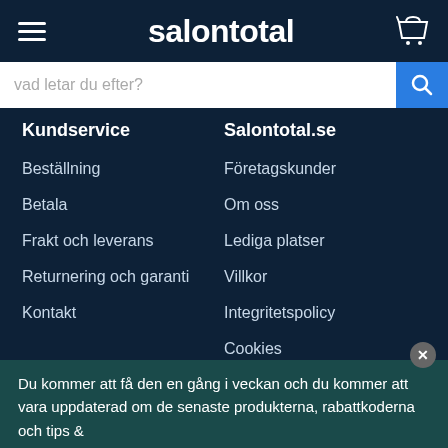salontotal
[Figure (screenshot): Search bar with placeholder text 'vad letar du efter?' and blue search button with magnifying glass icon]
Kundservice
Salontotal.se
Beställning
Företagskunder
Betala
Om oss
Frakt och leverans
Lediga platser
Returnering och garanti
Villkor
Kontakt
Integritetspolicy
Cookies
Du kommer att få den en gång i veckan och du kommer att vara uppdaterad om de senaste produkterna, rabattkoderna och tips &